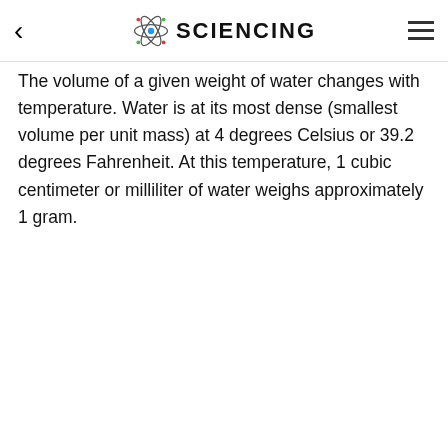SCIENCING
The volume of a given weight of water changes with temperature. Water is at its most dense (smallest volume per unit mass) at 4 degrees Celsius or 39.2 degrees Fahrenheit. At this temperature, 1 cubic centimeter or milliliter of water weighs approximately 1 gram.